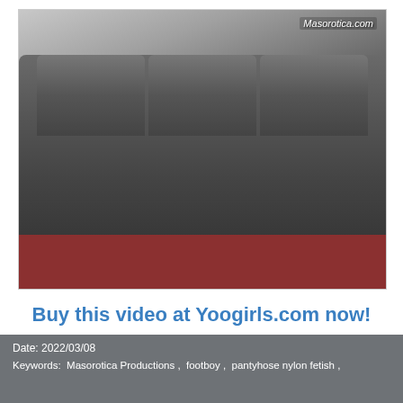[Figure (photo): A person lying on a dark grey sofa with legs extended, while another person is on the floor near their feet. Watermark reads 'Masorotica.com' in top right corner.]
Buy this video at Yoogirls.com now!
Date: 2022/03/08
Keywords:  Masorotica Productions ,  footboy ,  pantyhose nylon fetish ,